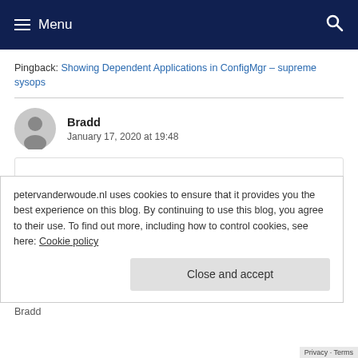Menu
Pingback: Showing Dependent Applications in ConfigMgr – supreme sysops
Bradd
January 17, 2020 at 19:48
petervanderwoude.nl uses cookies to ensure that it provides you the best experience on this blog. By continuing to use this blog, you agree to their use. To find out more, including how to control cookies, see here: Cookie policy
Close and accept
Bradd
Privacy - Terms